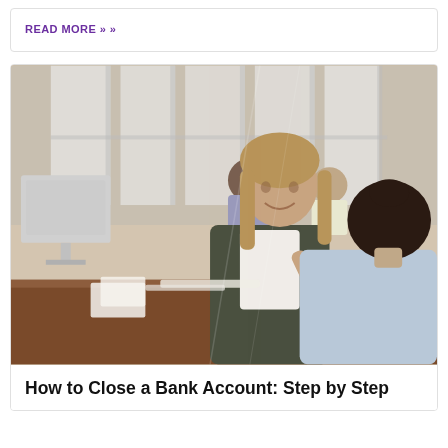READ MORE »
[Figure (photo): A bank employee (woman with long hair, wearing a dark jacket) speaks animatedly across a desk to a seated customer (woman with dark hair in a bun, wearing a light blue top). A computer monitor is visible on the left. Other people are visible in the background at a bright, windowed office setting.]
How to Close a Bank Account: Step by Step